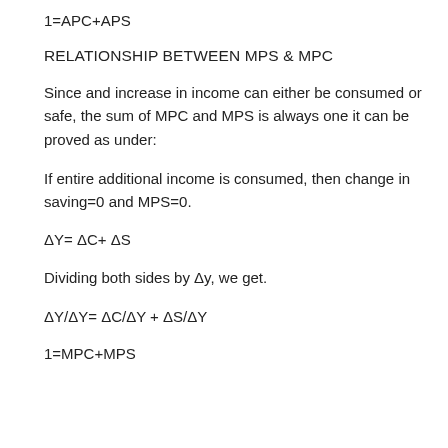1=APC+APS
RELATIONSHIP BETWEEN MPS & MPC
Since and increase in income can either be consumed or safe, the sum of MPC and MPS is always one it can be proved as under:
If entire additional income is consumed, then change in saving=0 and MPS=0.
ΔY= ΔC+ ΔS
Dividing both sides by Δy, we get.
ΔY/ΔY= ΔC/ΔY + ΔS/ΔY
1=MPC+MPS